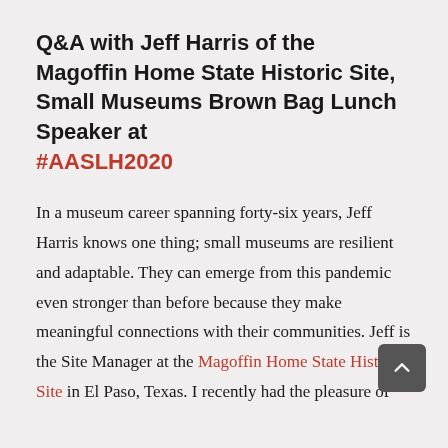Q&A with Jeff Harris of the Magoffin Home State Historic Site, Small Museums Brown Bag Lunch Speaker at #AASLH2020
In a museum career spanning forty-six years, Jeff Harris knows one thing; small museums are resilient and adaptable. They can emerge from this pandemic even stronger than before because they make meaningful connections with their communities. Jeff is the Site Manager at the Magoffin Home State Historic Site in El Paso, Texas. I recently had the pleasure of